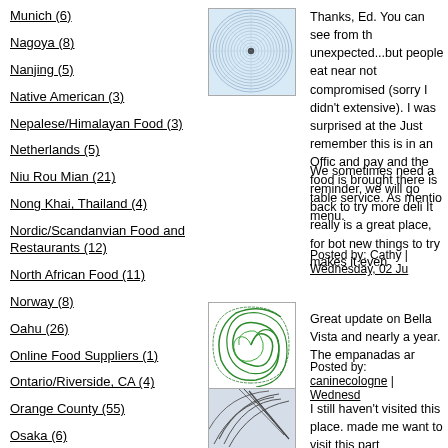Munich (6)
Nagoya (8)
Nanjing (5)
Native American (3)
Nepalese/Himalayan Food (3)
Netherlands (5)
Niu Rou Mian (21)
Nong Khai, Thailand (4)
Nordic/Scandanvian Food and Restaurants (12)
North African Food (11)
Norway (8)
Oahu (26)
Online Food Suppliers (1)
Ontario/Riverside, CA (4)
Orange County (55)
Osaka (6)
Pakistani Food (1)
[Figure (illustration): Circular geometric pattern with blue/white spiral lines on light blue background]
Thanks, Ed. You can see from the unexpected...but people eat near not compromised (sorry I didn't extensive). I was surprised at the Just remember this is in an Offi and pay and the food is brought there is table service. As mentio menu.
We sometimes need a reminder, we will go back to try more deli It really is a great place, for bot new things to try makes it even
Posted by: Cathy | Wednesday, 02 J
[Figure (illustration): Circular swirl pattern in green on white background]
Great update on Bella Vista and nearly a year. The empanadas ar
Posted by: caninecologne | Wednesd
[Figure (illustration): Abstract geometric pattern with curved intersecting lines on light blue/grey background]
I still haven't visited this place. made me want to visit this part